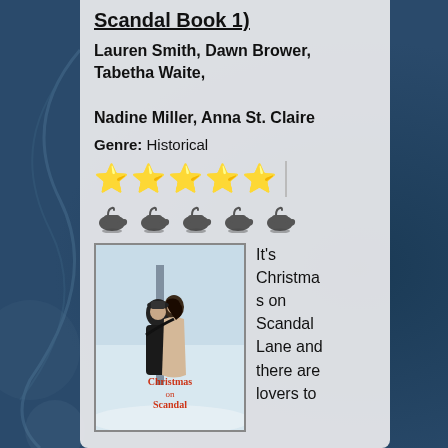Scandal Book 1)
Lauren Smith, Dawn Brower, Tabetha Waite, Nadine Miller, Anna St. Claire
Genre: Historical
[Figure (other): Five gold star rating icons]
[Figure (other): Five teapot emoji icons]
[Figure (photo): Book cover of Christmas on Scandal Lane showing a couple embracing in a winter scene]
It's Christmas on Scandal Lane and there are lovers to